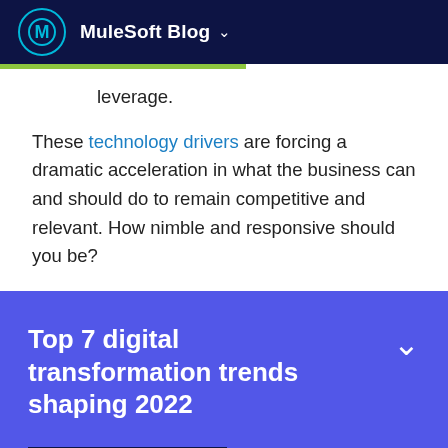MuleSoft Blog
leverage.
These technology drivers are forcing a dramatic acceleration in what the business can and should do to remain competitive and relevant. How nimble and responsive should you be?
Top 7 digital transformation trends shaping 2022
Read report